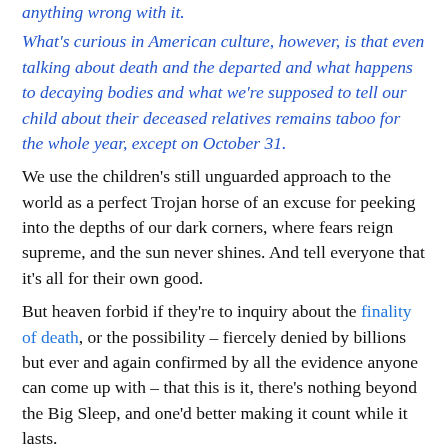anything wrong with it.
What's curious in American culture, however, is that even talking about death and the departed and what happens to decaying bodies and what we're supposed to tell our child about their deceased relatives remains taboo for the whole year, except on October 31.
We use the children's still unguarded approach to the world as a perfect Trojan horse of an excuse for peeking into the depths of our dark corners, where fears reign supreme, and the sun never shines. And tell everyone that it's all for their own good.
But heaven forbid if they're to inquiry about the finality of death, or the possibility – fiercely denied by billions but ever and again confirmed by all the evidence anyone can come up with – that this is it, there's nothing beyond the Big Sleep, and one'd better making it count while it lasts.